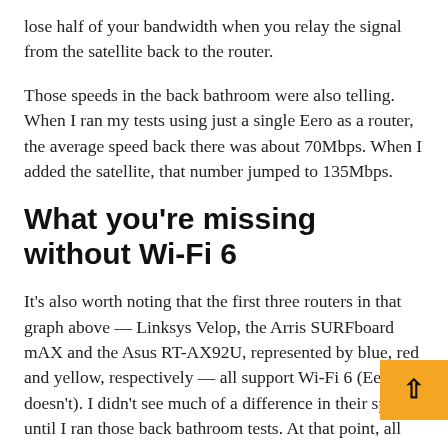lose half of your bandwidth when you relay the signal from the satellite back to the router.
Those speeds in the back bathroom were also telling. When I ran my tests using just a single Eero as a router, the average speed back there was about 70Mbps. When I added the satellite, that number jumped to 135Mbps.
What you're missing without Wi-Fi 6
It's also worth noting that the first three routers in that graph above — Linksys Velop, the Arris SURFboard mAX and the Asus RT-AX92U, represented by blue, red and yellow, respectively — all support Wi-Fi 6 (Eero doesn't). I didn't see much of a difference in their speeds until I ran those back bathroom tests. At that point, all three w notably faster than the rest of the field, which is likel because the router and satellite in each of those setups were able to use next-gen Wi-Fi 6 features to transmit